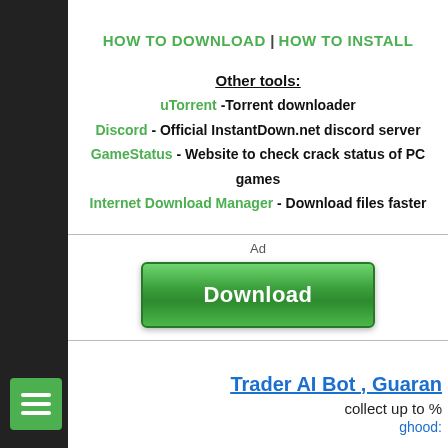HOW TO DOWNLOAD | HOW TO INSTALL
Other tools:
uTorrent - Torrent downloader
Discord - Official InstantDown.net discord server
GameStatus - Website to check crack status of PC games
Internet Download Manager - Download files faster
[Figure (other): Green Download button advertisement with 'Ad' label above it]
[Figure (other): Trader AI Bot advertisement banner (partially visible) with text 'Trader AI Bot , Guaran', 'collect up to %', 'ghood:']